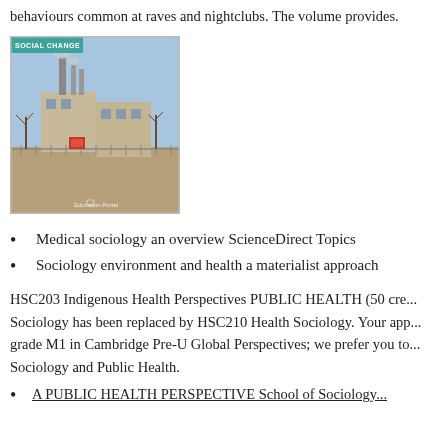behaviours common at raves and nightclubs. The volume provides.
[Figure (photo): Photograph of an industrial building with smokestacks emitting smoke, taken outdoors with bare trees in the foreground and a blue sky background. A 'SOCIAL CHANGE' label appears in the top-left corner and 'Education Portal' watermark in the bottom-right corner.]
Medical sociology an overview ScienceDirect Topics
Sociology environment and health a materialist approach
HSC203 Indigenous Health Perspectives PUBLIC HEALTH (50 cre... Sociology has been replaced by HSC210 Health Sociology. Your app... grade M1 in Cambridge Pre-U Global Perspectives; we prefer you to... Sociology and Public Health.
A PUBLIC HEALTH PERSPECTIVE School of Sociology...